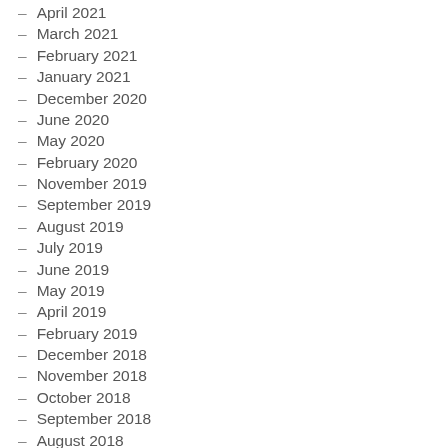– April 2021
– March 2021
– February 2021
– January 2021
– December 2020
– June 2020
– May 2020
– February 2020
– November 2019
– September 2019
– August 2019
– July 2019
– June 2019
– May 2019
– April 2019
– February 2019
– December 2018
– November 2018
– October 2018
– September 2018
– August 2018
– July 2018
– June 2018
– May 2018